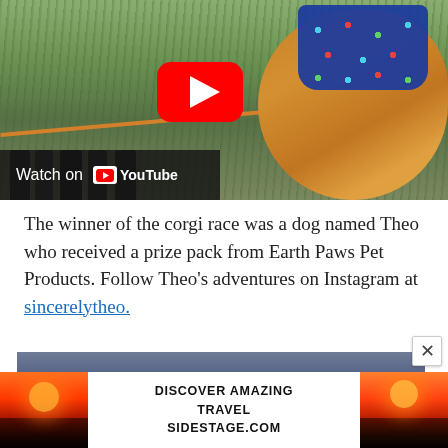[Figure (photo): YouTube video thumbnail showing a corgi dog wearing a blue bandana with whale patterns on a grassy field, with a leash visible and people's legs in the background. A YouTube play button overlay is visible, and a 'Watch on YouTube' bar appears at the bottom left of the image.]
The winner of the corgi race was a dog named Theo who received a prize pack from Earth Paws Pet Products. Follow Theo's adventures on Instagram at sincerelytheo.
[Figure (photo): Photo of a crowd of people outdoors, showing legs and lower bodies of attendees at what appears to be an outdoor event or festival.]
[Figure (photo): Advertisement banner showing sunset/landscape photos on either side with text 'DISCOVER AMAZING TRAVEL SIDESTAGE.COM' in the center.]